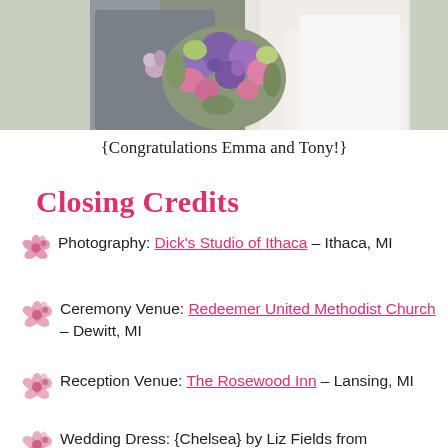[Figure (photo): Wedding photo showing a couple, groom in grey suit and bride in white dress holding a purple and pink floral bouquet, cropped to show torsos and bouquet.]
{Congratulations Emma and Tony!}
Closing Credits
Photography: Dick's Studio of Ithaca – Ithaca, MI
Ceremony Venue: Redeemer United Methodist Church – Dewitt, MI
Reception Venue: The Rosewood Inn – Lansing, MI
Wedding Dress: {Chelsea} by Liz Fields from